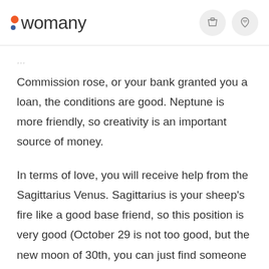womany
Commission rose, or your bank granted you a loan, the conditions are good. Neptune is more friendly, so creativity is an important source of money.
In terms of love, you will receive help from the Sagittarius Venus. Sagittarius is your sheep's fire like a good base friend, so this position is very good (October 29 is not too good, but the new moon of 30th, you can just find someone to spend Halloween together).
Considering the difficult full moon of October 15